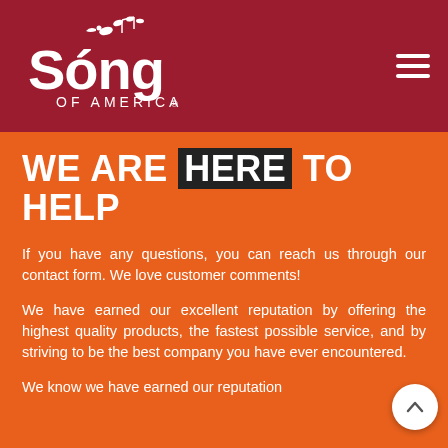[Figure (logo): Song of America logo — white text and bird graphic on dark red background]
WE ARE HERE TO HELP
If you have any questions, you can reach us through our contact form. We love customer comments!
We have earned our excellent reputation by offering the highest quality products, the fastest possible service, and by striving to be the best company you have ever encountered.
We know we have earned our reputation